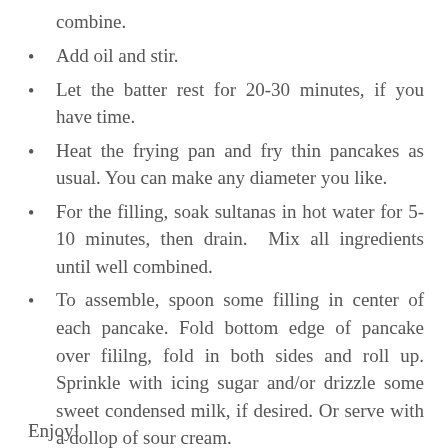combine.
Add oil and stir.
Let the batter rest for 20-30 minutes, if you have time.
Heat the frying pan and fry thin pancakes as usual. You can make any diameter you like.
For the filling, soak sultanas in hot water for 5-10 minutes, then drain. Mix all ingredients until well combined.
To assemble, spoon some filling in center of each pancake. Fold bottom edge of pancake over fililng, fold in both sides and roll up. Sprinkle with icing sugar and/or drizzle some sweet condensed milk, if desired. Or serve with a dollop of sour cream.
Enjoy!